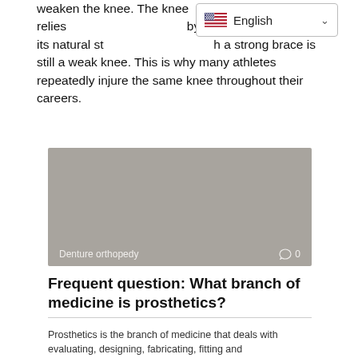weaken the knee. The knee relies by the brace instead of its natural strength a strong brace is still a weak knee. This is why many athletes repeatedly injure the same knee throughout their careers.
[Figure (photo): Gray placeholder image with 'Denture orthopedy' label and comment icon showing 0 comments]
Frequent question: What branch of medicine is prosthetics?
Prosthetics is the branch of medicine that deals with evaluating, designing, fabricating, fitting and